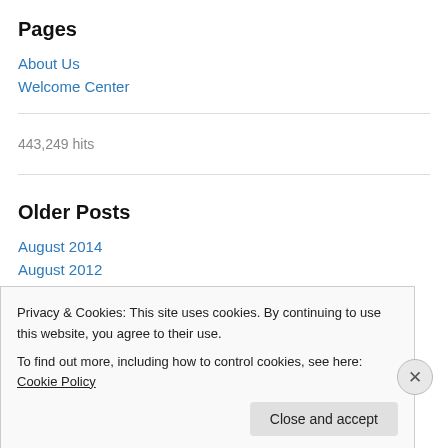Pages
About Us
Welcome Center
443,249 hits
Older Posts
August 2014
August 2012
Privacy & Cookies: This site uses cookies. By continuing to use this website, you agree to their use.
To find out more, including how to control cookies, see here: Cookie Policy
Close and accept